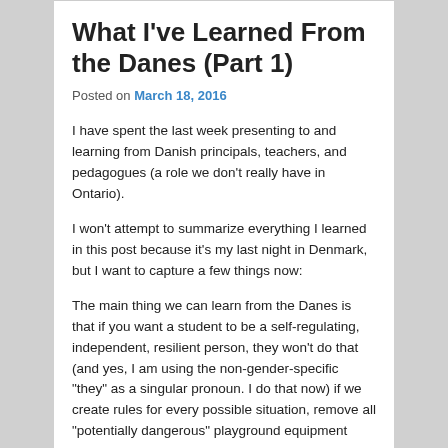What I’ve Learned From the Danes (Part 1)
Posted on March 18, 2016
I have spent the last week presenting to and learning from Danish principals, teachers, and pedagogues (a role we don’t really have in Ontario).
I won’t attempt to summarize everything I learned in this post because it’s my last night in Denmark, but I want to capture a few things now:
The main thing we can learn from the Danes is that if you want a student to be a self-regulating, independent, resilient person, they won’t do that (and yes, I am using the non-gender-specific “they” as a singular pronoun. I do that now) if we create rules for every possible situation, remove all “potentially dangerous” playground equipment